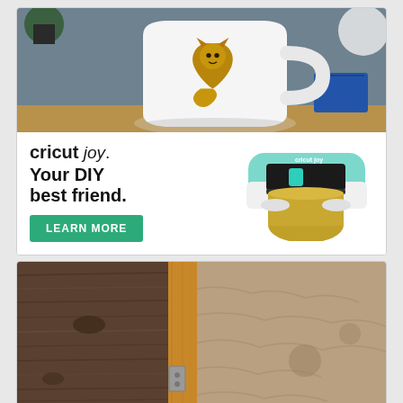[Figure (photo): Advertisement card: Top half shows a white coffee mug with a gold fox logo on a wooden surface with gray background. Bottom half shows Cricut Joy ad with text 'cricut joy. Your DIY best friend.' and a LEARN MORE green button, with an image of the Cricut Joy cutting machine with gold vinyl roll.]
[Figure (photo): Partially visible photo card showing wooden door frame with weathered wood texture on the left and sandy/rocky ground texture on the right.]